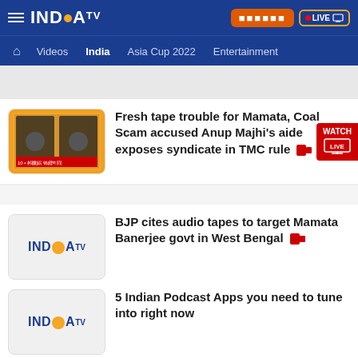INDIA TV — Header navigation bar with Videos, India, Asia Cup 2022, Entertainment
[Figure (screenshot): Thumbnail image of India TV news segment about Coal Scam and TMC rule]
Fresh tape trouble for Mamata, Coal Scam accused Anup Majhi's aide exposes syndicate in TMC rule
[Figure (logo): India TV logo placeholder]
BJP cites audio tapes to target Mamata Banerjee govt in West Bengal
[Figure (logo): India TV logo placeholder]
5 Indian Podcast Apps you need to tune into right now